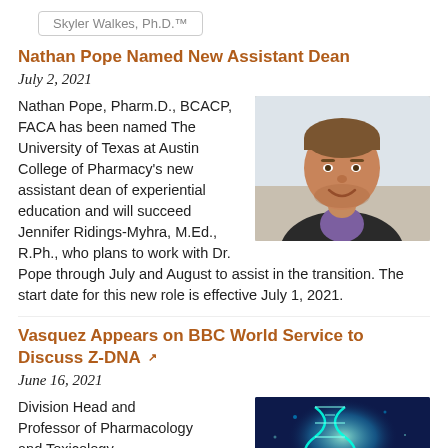Skyler Walkes, Ph.D.™
Nathan Pope Named New Assistant Dean
July 2, 2021
[Figure (photo): Headshot of Nathan Pope, a man smiling in a dark blazer and purple shirt, indoor background]
Nathan Pope, Pharm.D., BCACP, FACA has been named The University of Texas at Austin College of Pharmacy's new assistant dean of experiential education and will succeed Jennifer Ridings-Myhra, M.Ed., R.Ph., who plans to work with Dr. Pope through July and August to assist in the transition. The start date for this new role is effective July 1, 2021.
Vasquez Appears on BBC World Service to Discuss Z-DNA
June 16, 2021
[Figure (photo): Stylized illustration of a DNA double helix glowing teal/blue on a dark blue background]
Division Head and Professor of Pharmacology and Toxicology